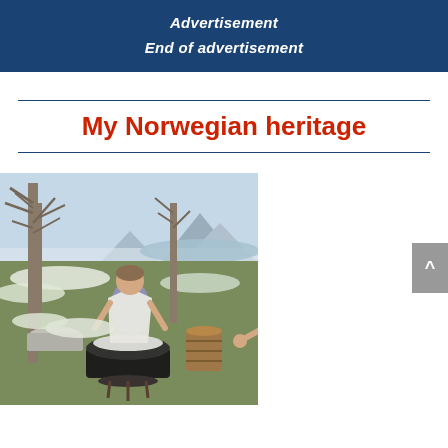Advertisement
End of advertisement
My Norwegian heritage
[Figure (photo): A woman outdoors in a Nordic landscape washing or working with textiles over a large black cauldron pot. Bare trees, snow patches, and a fjord or lake with mountains visible in the background. Old-fashioned washing day scene.]